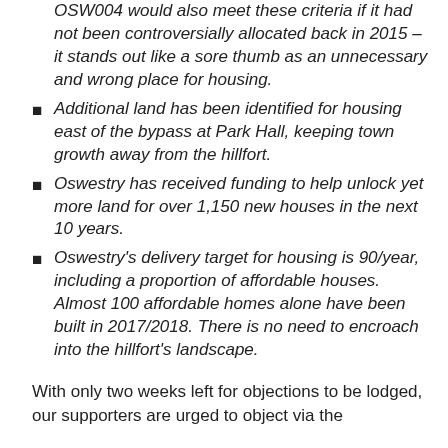OSW004 would also meet these criteria if it had not been controversially allocated back in 2015 – it stands out like a sore thumb as an unnecessary and wrong place for housing.
Additional land has been identified for housing east of the bypass at Park Hall, keeping town growth away from the hillfort.
Oswestry has received funding to help unlock yet more land for over 1,150 new houses in the next 10 years.
Oswestry's delivery target for housing is 90/year, including a proportion of affordable houses. Almost 100 affordable homes alone have been built in 2017/2018. There is no need to encroach into the hillfort's landscape.
With only two weeks left for objections to be lodged, our supporters are urged to object via the